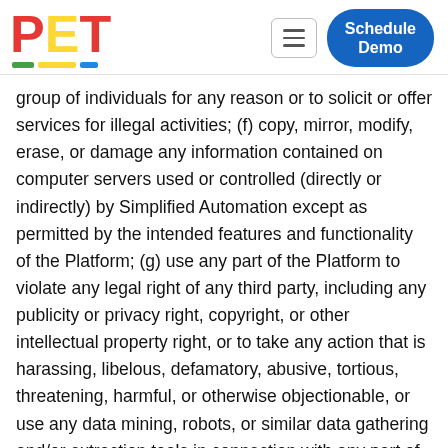PET logo with Schedule Demo button
group of individuals for any reason or to solicit or offer services for illegal activities; (f) copy, mirror, modify, erase, or damage any information contained on computer servers used or controlled (directly or indirectly) by Simplified Automation except as permitted by the intended features and functionality of the Platform; (g) use any part of the Platform to violate any legal right of any third party, including any publicity or privacy right, copyright, or other intellectual property right, or to take any action that is harassing, libelous, defamatory, abusive, tortious, threatening, harmful, or otherwise objectionable, or use any data mining, robots, or similar data gathering and/or extraction tools in connection with any part of the Platform; (h) access or use the Platform from any Internet service provider (ISP) account, access point, or network that you are not authorized to use; (i) access or use any password-protected,